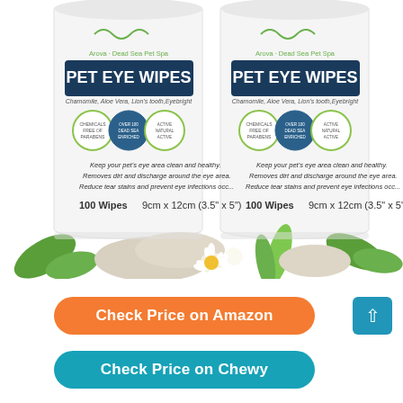[Figure (photo): Two white cylindrical containers of 'Arova Dead Sea Pet Spa - PET EYE WIPES' with Chamomile, Aloe Vera, Lion's tooth, Eyebright. Each container shows 100 Wipes, 9cm x 12cm (3.5" x 5"). Containers are surrounded by chamomile flowers, aloe vera, green leaves, and salt crystals on a white background.]
Check Price on Amazon
Check Price on Chewy